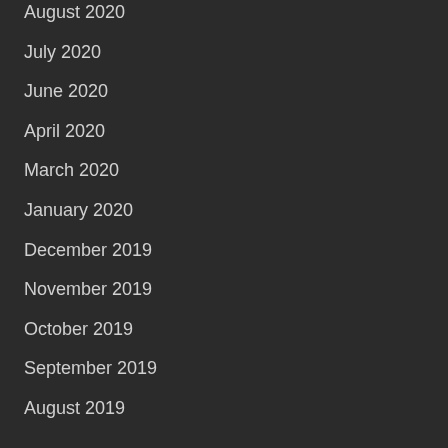August 2020
July 2020
June 2020
April 2020
March 2020
January 2020
December 2019
November 2019
October 2019
September 2019
August 2019